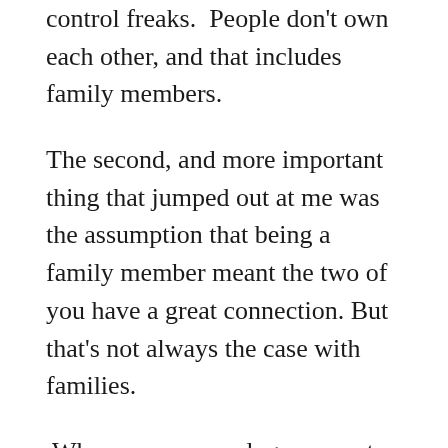control freaks.  People don't own each other, and that includes family members.
The second, and more important thing that jumped out at me was the assumption that being a family member meant the two of you have a great connection. But that's not always the case with families.
When we say our dogs are part of our family, it doesn't speak to the quality of the relationship. I have family members who love and would do anything for, yet I certainly wouldn't want to hang with them!  This sentiment is probably experienced during uncomfortable Thanksgiving dinners in many homes.   There are many instances where families have a deep